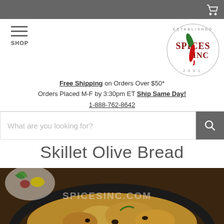Free Shipping on Orders Over $50* Orders Placed M-F by 3:30pm ET Ship Same Day! 1-888-762-8642
What are you looking for?
Skillet Olive Bread
[Figure (photo): Cast iron skillet with golden olive bread, olives and herbs visible in background, SpicesInc.com watermark overlay]